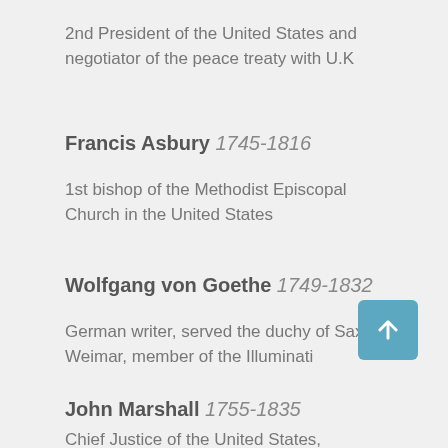2nd President of the United States and negotiator of the peace treaty with U.K
Francis Asbury 1745-1816
1st bishop of the Methodist Episcopal Church in the United States
Wolfgang von Goethe 1749-1832
German writer, served the duchy of Saxe-Weimar, member of the Illuminati
John Marshall 1755-1835
Chief Justice of the United States, developed the